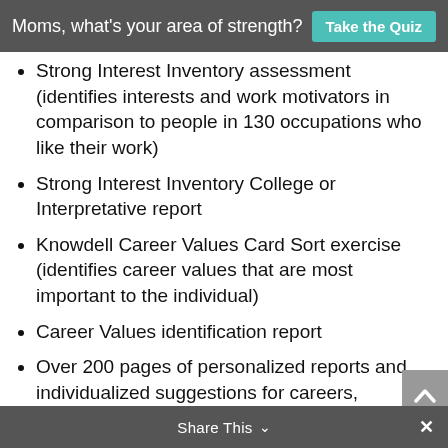Moms, what's your area of strength? Take the Quiz
Strong Interest Inventory assessment (identifies interests and work motivators in comparison to people in 130 occupations who like their work)
Strong Interest Inventory College or Interpretative report
Knowdell Career Values Card Sort exercise (identifies career values that are most important to the individual)
Career Values identification report
Over 200 pages of personalized reports and individualized suggestions for careers, learning, & success strategies
Share This ×